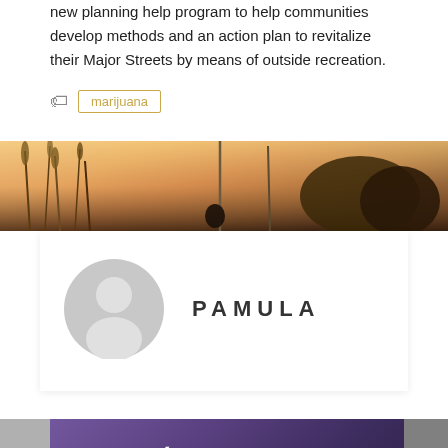new planning help program to help communities develop methods and an action plan to revitalize their Major Streets by means of outside recreation.
marijuana
[Figure (photo): Landscape photo of grasses and trees silhouetted against a warm orange-pink sunset sky]
[Figure (photo): Gray default user avatar circle with head and shoulders silhouette]
PAMULA
[Figure (screenshot): Purple gradient banner with Previous Post navigation link and Careers & Training text]
< PREVIOUS POST
Careers & Training